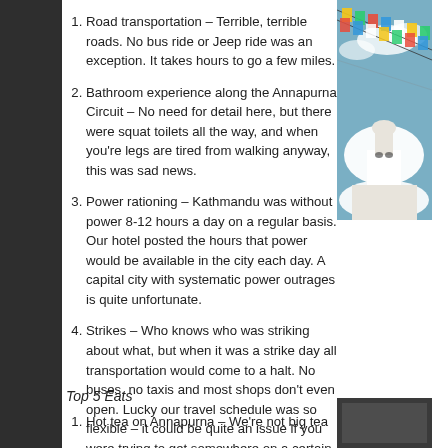Road transportation – Terrible, terrible roads. No bus ride or Jeep ride was an exception. It takes hours to go a few miles.
Bathroom experience along the Annapurna Circuit – No need for detail here, but there were squat toilets all the way, and when you're legs are tired from walking anyway, this was sad news.
Power rationing – Kathmandu was without power 8-12 hours a day on a regular basis. Our hotel posted the hours that power would be available in the city each day. A capital city with systematic power outrages is quite unfortunate.
Strikes – Who knows who was striking about what, but when it was a strike day all transportation would come to a halt. No buses, no taxis and most shops don't even open. Lucky our travel schedule was so flexible – it could be quite an issue if you were trying to get somewhere on a certain day at a certain time.
Freezing cold nights – on the Annapurna circuit, we had a couple high-altitude evenings with not quite enough covers. We're stretching here with things to complain about…
Top 5 Eats
Hot tea on Annapurna – We're not big tea
[Figure (photo): Photo of colorful prayer flags against a blue sky with a white stupa dome below, taken at a Buddhist site in Nepal]